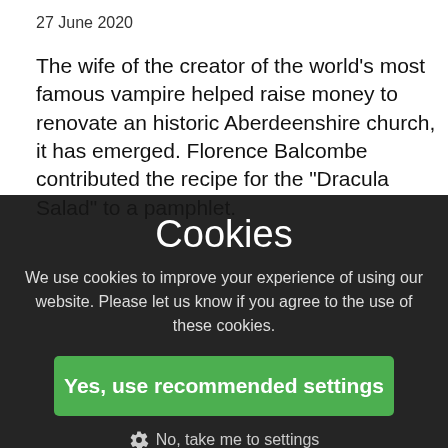27 June 2020
The wife of the creator of the world's most famous vampire helped raise money to renovate an historic Aberdeenshire church, it has emerged. Florence Balcombe contributed the recipe for the "Dracula Salad" to a pamphlet.
Cookies
We use cookies to improve your experience of using our website. Please let us know if you agree to the use of these cookies.
Yes, use recommended settings
No, take me to settings